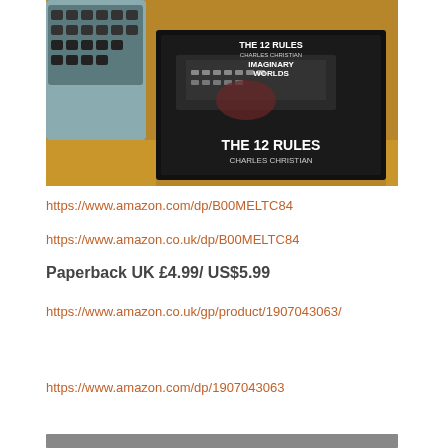[Figure (photo): Photo of a book titled 'The 12 Rules - Imaginary Worlds' by Charles Christian, lying on a wooden table next to a vintage typewriter. The book cover is dark with a typewriter image and the title text visible.]
https://www.amazon.com/dp/B00MELTC84
https://www.amazon.co.uk/dp/B00MELTC84
Paperback UK £4.99/ US$5.99
https://www.amazon.co.uk/gp/product/1907043063/
https://www.amazon.com/dp/1907043063